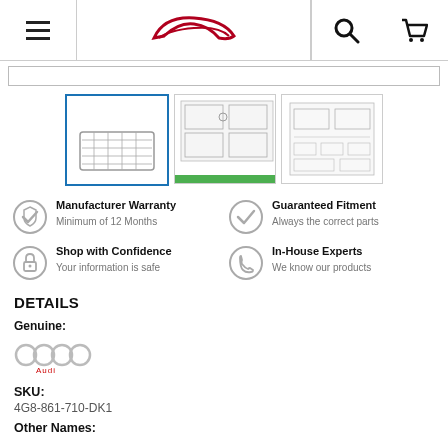Navigation header with menu, logo, search and cart icons
[Figure (photo): Three product thumbnail images: a grille/net part (selected, blue border), an instruction sheet diagram, and an assembly diagram]
Manufacturer Warranty
Minimum of 12 Months
Guaranteed Fitment
Always the correct parts
Shop with Confidence
Your information is safe
In-House Experts
We know our products
DETAILS
Genuine:
[Figure (logo): Audi four-rings logo with Audi text beneath]
SKU:
4G8-861-710-DK1
Other Names: